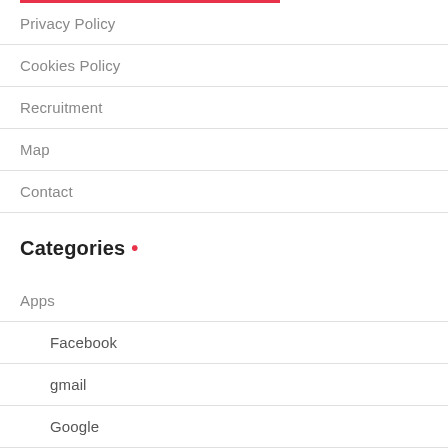Privacy Policy
Cookies Policy
Recruitment
Map
Contact
Categories •
Apps
Facebook
gmail
Google